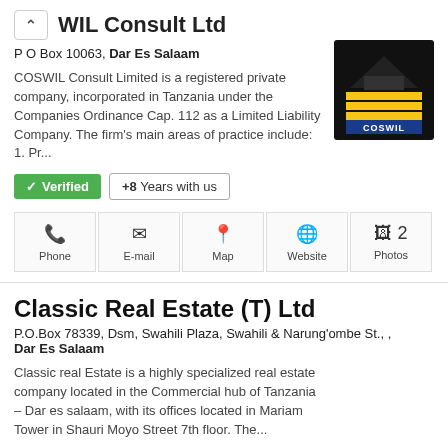WIL Consult Ltd
P O Box 10063, Dar Es Salaam
COSWIL Consult Limited is a registered private company, incorporated in Tanzania under the Companies Ordinance Cap. 112 as a Limited Liability Company. The firm's main areas of practice include: 1. Pr...
[Figure (logo): COSWIL company logo with house/pyramid icon on black background]
✓ Verified  +8  Years with us
Phone  E-mail  Map  Website  2 Photos
Classic Real Estate (T) Ltd
P.O.Box 78339, Dsm, Swahili Plaza, Swahili & Narung'ombe St., , Dar Es Salaam
Classic real Estate is a highly specialized real estate company located in the Commercial hub of Tanzania – Dar es salaam, with its offices located in Mariam Tower in Shauri Moyo Street 7th floor. The...
[Figure (logo): Classic Real Estate logo with red building graphic]
✓ Verified  +7  Years with us